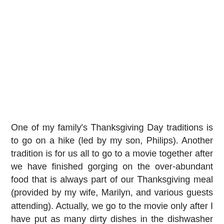One of my family's Thanksgiving Day traditions is to go on a hike (led by my son, Philips). Another tradition is for us all to go to a movie together after we have finished gorging on the over-abundant food that is always part of our Thanksgiving meal (provided by my wife, Marilyn, and various guests attending). Actually, we go to the movie only after I have put as many dirty dishes in the dishwasher as I can, and I am forced to wait until I can do another load (my contribution to the celebration is, always, to bat cleanup).
This year, our movie tradition held, but picking the movie is